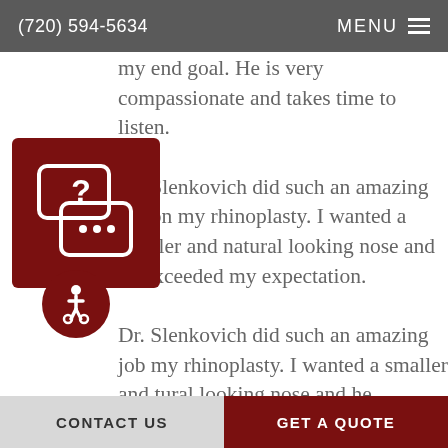(720) 594-5634   MENU
my end goal. He is very compassionate and takes time to listen.
Dr. Slenkovich did such an amazing job on my rhinoplasty. I wanted a smaller and natural looking nose and he exceeded my expectation.
Dr. Slenkovich did such an amazing job my rhinoplasty. I wanted a smaller and tural looking nose and he exceeded my xpectation.
Dr. Slenkovich did such an amazing job
CONTACT US   GET A QUOTE